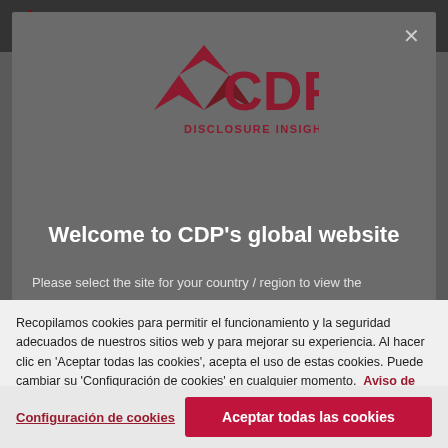[Figure (screenshot): CDP website screenshot showing navigation bar with CDP logo, search and account icons, and 'Iniciar sesión' link]
[Figure (logo): CDP Disclosure Insight Action logo in dark red/maroon color on gray modal background]
Welcome to CDP's global website
Please select the site for your country / region to view the
Recopilamos cookies para permitir el funcionamiento y la seguridad adecuados de nuestros sitios web y para mejorar su experiencia. Al hacer clic en 'Aceptar todas las cookies', acepta el uso de estas cookies. Puede cambiar su 'Configuración de cookies' en cualquier momento.  Aviso de cookies
Configuración de cookies
Aceptar todas las cookies